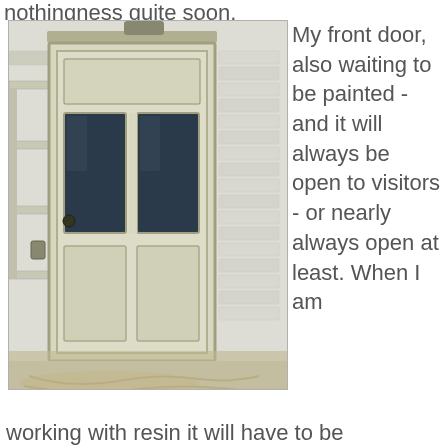nothingness quite soon.
[Figure (photo): A white painted front door with two glass panels in the upper half and two solid panels in the lower half, set in a white painted brick wall interior. Dust sheets on the floor, wooden shelves visible on the left side.]
My front door, also waiting to be painted - and it will always be open to visitors - or nearly always open at least. When I am working with resin it will have to be